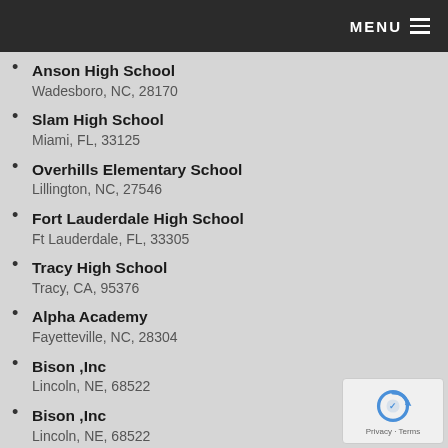MENU
Anson High School
Wadesboro, NC, 28170
Slam High School
Miami, FL, 33125
Overhills Elementary School
Lillington, NC, 27546
Fort Lauderdale High School
Ft Lauderdale, FL, 33305
Tracy High School
Tracy, CA, 95376
Alpha Academy
Fayetteville, NC, 28304
Bison ,Inc
Lincoln, NE, 68522
Bison ,Inc
Lincoln, NE, 68522
Harvest Church
Naperville, IL, 60563
Malesus Baptist church
Jackson, TN, 38301